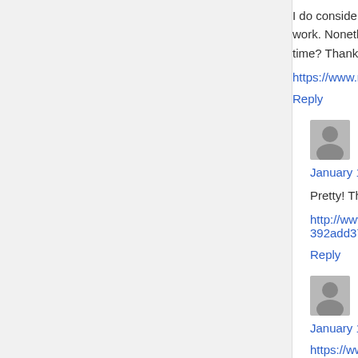I do consider all of the ideas you've introduced t... work. Nonetheless, the posts are too quick for b... time? Thanks for the post.
https://www.megadede.la/
Reply
[Figure (illustration): User avatar placeholder (grey silhouette)]
□□ □□ says:
January 11, 2021 at 11:27 pm
Pretty! This has been an incredibly wonderful po...
http://www.arakhne.org/redirect.php?url=https://... 392add37-8cdf-43b1-8a83-6c349d7e13f4
Reply
[Figure (illustration): User avatar placeholder (grey silhouette)]
treadmill assemblers says:
January 12, 2021 at 7:17 am
https://www.treadmillassemblyservice.com/
Reply
[Figure (illustration): User avatar placeholder (grey silhouette)]
Noreen says: